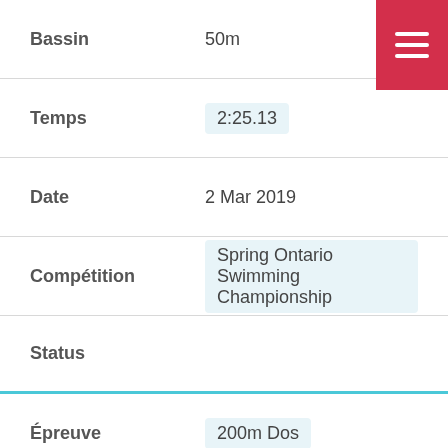| Field | Value |
| --- | --- |
| Bassin | 50m |
| Temps | 2:25.13 |
| Date | 2 Mar 2019 |
| Compétition | Spring Ontario Swimming Championship |
| Status |  |
| Épreuve | 200m Dos |
| Bassin | 25m |
| Temps | 5:51.21 |
| Date | 2 Fév 2019 |